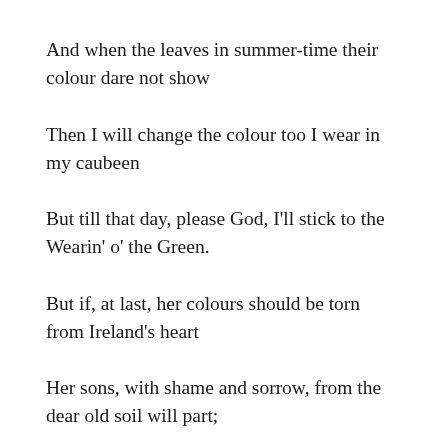And when the leaves in summer-time their colour dare not show
Then I will change the colour too I wear in my caubeen
But till that day, please God, I'll stick to the Wearin' o' the Green.
But if, at last, her colours should be torn from Ireland's heart
Her sons, with shame and sorrow, from the dear old soil will part;
I've heard whispers of a Country that lies far beyond the sea,